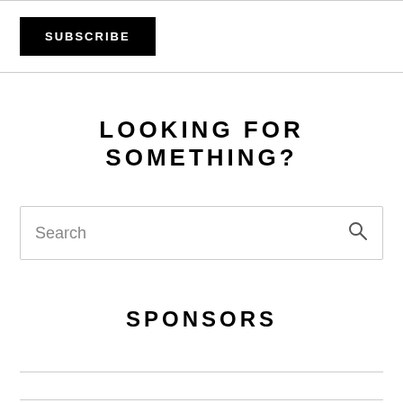SUBSCRIBE
LOOKING FOR SOMETHING?
Search
SPONSORS